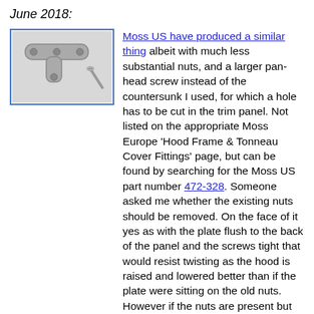June 2018:
[Figure (photo): A metal T-shaped bracket plate with three holes along the top bar and one on the stem, shown with a single screw beside it.]
Moss US have produced a similar thing albeit with much less substantial nuts, and a larger pan-head screw instead of the countersunk I used, for which a hole has to be cut in the trim panel. Not listed on the appropriate Moss Europe 'Hood Frame & Tonneau Cover Fittings' page, but can be found by searching for the Moss US part number 472-328. Someone asked me whether the existing nuts should be removed. On the face of it yes as with the plate flush to the back of the panel and the screws tight that would resist twisting as the hood is raised and lowered better than if the plate were sitting on the old nuts. However if the nuts are present but the threads are damaged drilling a clearance hole through them will allow them to act as a locator, and the frame would not twist back and fore while tightening the screws. Of course if some are missing then short of replacing them with some other spacer that will allow the plates to be installed parallel to the